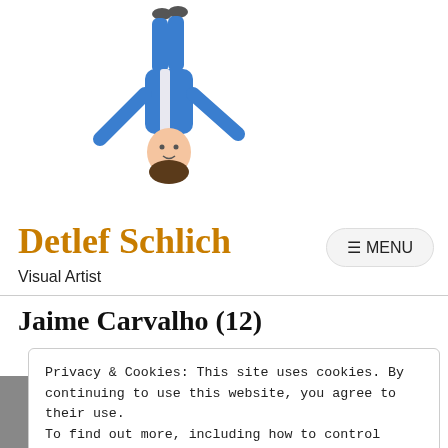[Figure (photo): Person in blue outfit hanging upside down, suspended by feet]
Detlef Schlich
Visual Artist
Jaime Carvalho (12)
Privacy & Cookies: This site uses cookies. By continuing to use this website, you agree to their use.
To find out more, including how to control cookies, see here: Cookie Policy
[Figure (photo): Black and white photo partially visible at bottom of page]